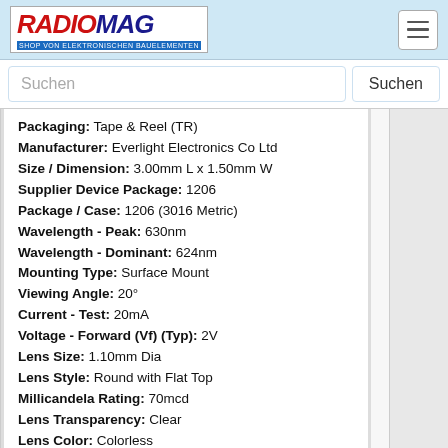RADIOMAG - SHOP VON ELEKTRONISCHEN BAUELEMENTEN
Packaging: Tape & Reel (TR)
Manufacturer: Everlight Electronics Co Ltd
Size / Dimension: 3.00mm L x 1.50mm W
Supplier Device Package: 1206
Package / Case: 1206 (3016 Metric)
Wavelength - Peak: 630nm
Wavelength - Dominant: 624nm
Mounting Type: Surface Mount
Viewing Angle: 20°
Current - Test: 20mA
Voltage - Forward (Vf) (Typ): 2V
Lens Size: 1.10mm Dia
Lens Style: Round with Flat Top
Millicandela Rating: 70mcd
Lens Transparency: Clear
Lens Color: Colorless
Configuration: Standard
Base Part Number: QTLP651
Height (Max): 1.50mm
Produkt ist nicht verfügbar. Sie können Anfrage senden wenn Sie Produkt in den Warenkorb hinzufügen